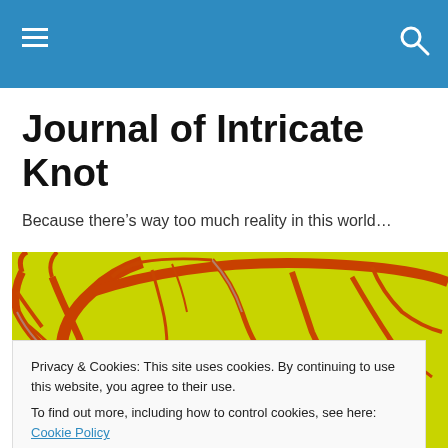Journal of Intricate Knot (navigation bar)
Journal of Intricate Knot
Because there’s way too much reality in this world…
[Figure (photo): Artistic photograph of tree branches with red/orange coloring on a yellow-green background, with a small dark bird silhouette perched on a branch]
Privacy & Cookies: This site uses cookies. By continuing to use this website, you agree to their use.
To find out more, including how to control cookies, see here: Cookie Policy
Close and accept
Mary, Mary quite contrary,